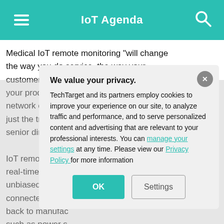IoT Agenda
Medical IoT remote monitoring "will change the way you do service, the way your customers perceive you, not just you, but your products. They become reliant on the network of things that you provide them, not just the transaction," said Anthony Moffa, senior director of ThingWorx IIoT
IoT remote moni… real-time informa… unbiased, which… connected medi… back to manufac… such as power s… was turned on a… connected medi… easy time obser… consistently, but
We value your privacy.
TechTarget and its partners employ cookies to improve your experience on our site, to analyze traffic and performance, and to serve personalized content and advertising that are relevant to your professional interests. You can manage your settings at any time. Please view our Privacy Policy for more information